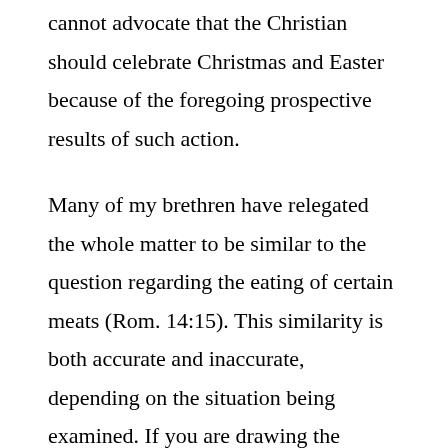cannot advocate that the Christian should celebrate Christmas and Easter because of the foregoing prospective results of such action.
Many of my brethren have relegated the whole matter to be similar to the question regarding the eating of certain meats (Rom. 14:15). This similarity is both accurate and inaccurate, depending on the situation being examined. If you are drawing the parallel between two brothers, one who eats such meats and one who does not, and two